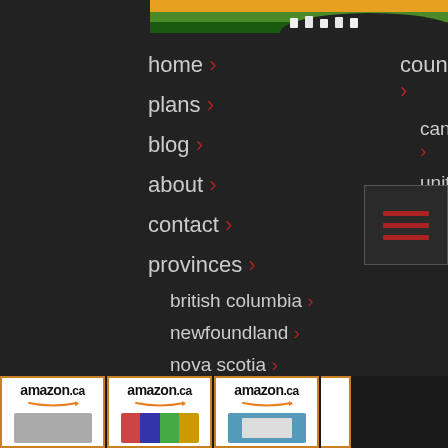[Figure (illustration): Partial top image showing green landscape with orange sky strip, partially cut off]
home ›
countries ›
plans ›
canada ›
united states ›
blog ›
about ›
contact ›
provinces ›
british columbia ›
newfoundland ›
nova scotia ›
prince edward island ›
new brunswick ›
[Figure (screenshot): Four amazon.ca advertisement cards at the bottom of the page showing products]